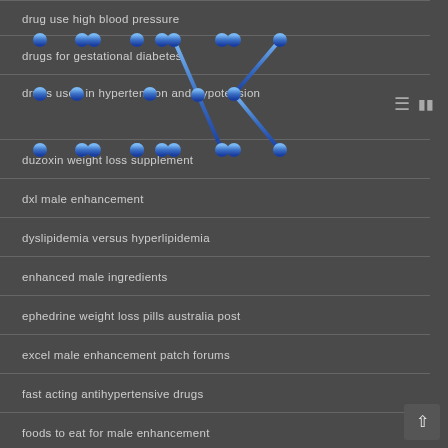[Figure (logo): ELINK logo in blue metallic connected-dot letter style overlaid on the list]
drug use high blood pressure
drugs for gestational diabetes
drugs used in hypertension and hypotension
duzoxin weight loss supplement
dxl male enhancement
dyslipidemia versus hyperlipidemia
enhanced male ingredients
ephedrine weight loss pills australia post
excel male enhancement patch forums
fast acting antihypertensive drugs
foods to eat for male enhancement
free trial for weight loss pills